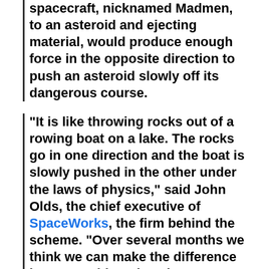spacecraft, nicknamed Madmen, to an asteroid and ejecting material, would produce enough force in the opposite direction to push an asteroid slowly off its dangerous course.
"It is like throwing rocks out of a rowing boat on a lake. The rocks go in one direction and the boat is slowly pushed in the other under the laws of physics," said John Olds, the chief executive of SpaceWorks, the firm behind the scheme. "Over several months we think we can make the difference between a hit and a miss."
In "Big blasts or tiny tugs: how to stop an asteroid catastrophe, the Guardian gives describes other methods to avoid collision with an asteroid...